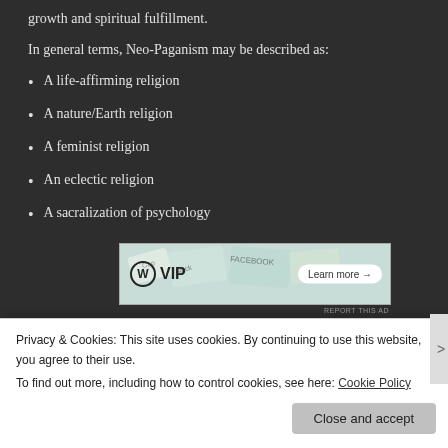growth and spiritual fulfillment.
In general terms, Neo-Paganism may be described as:
A life-affirming religion
A nature/Earth religion
A feminist religion
An eclectic religion
A sacralization of psychology
[Figure (screenshot): WordPress VIP advertisement banner with 'Learn more' button]
Updated 2019
Privacy & Cookies: This site uses cookies. By continuing to use this website, you agree to their use.
To find out more, including how to control cookies, see here: Cookie Policy